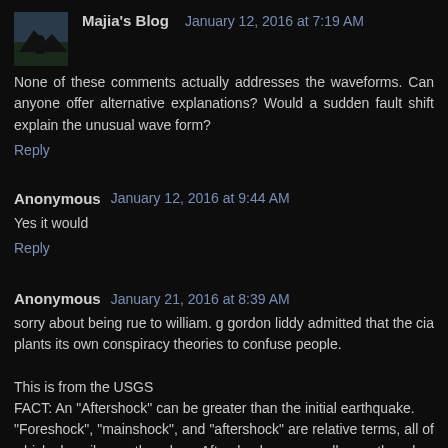Majia's Blog   January 12, 2016 at 7:19 AM
None of these comments actually addresses the waveforms. Can anyone offer alternative explanations? Would a sudden fault shift explain the unusual wave form?
Reply
Anonymous   January 12, 2016 at 9:44 AM
Yes it would
Reply
Anonymous   January 21, 2016 at 8:39 AM
sorry about being rue to william. g gordon liddy admitted that the cia plants its own conspiracy theories to confuse people.

This is from the USGS
FACT: An "Aftershock" can be greater than the initial earthquake.
"Foreshock", "mainshock", and "aftershock" are relative terms, all of which describe earthquakes. Aftershocks are smaller earthquakes that occur in the same general area during the days to years following a larger event or "mainshock". They mostly occur within 1-2 fault lengths of the mainshock. For the